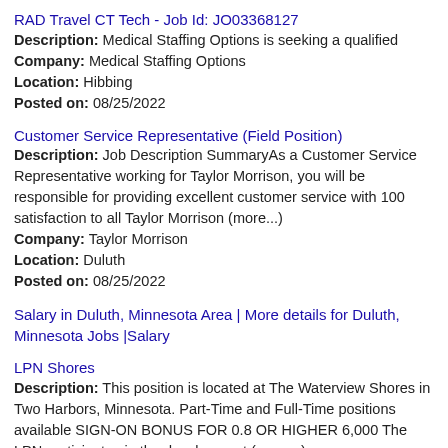RAD Travel CT Tech - Job Id: JO03368127
Description: Medical Staffing Options is seeking a qualified
Company: Medical Staffing Options
Location: Hibbing
Posted on: 08/25/2022
Customer Service Representative (Field Position)
Description: Job Description SummaryAs a Customer Service Representative working for Taylor Morrison, you will be responsible for providing excellent customer service with 100 satisfaction to all Taylor Morrison (more...)
Company: Taylor Morrison
Location: Duluth
Posted on: 08/25/2022
Salary in Duluth, Minnesota Area | More details for Duluth, Minnesota Jobs |Salary
LPN Shores
Description: This position is located at The Waterview Shores in Two Harbors, Minnesota. Part-Time and Full-Time positions available SIGN-ON BONUS FOR 0.8 OR HIGHER 6,000 The LPN participates in the development (more...)
Company: Monarch Healthcare Management